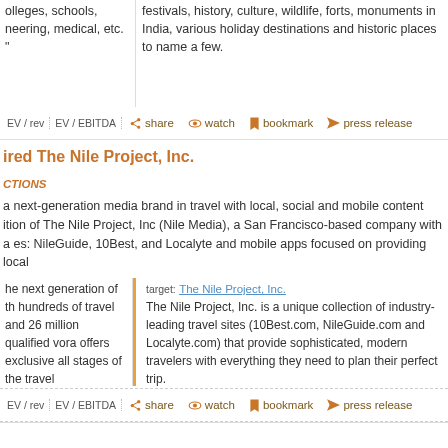olleges, schools, neering, medical, etc. "
festivals, history, culture, wildlife, forts, monuments in India, various holiday destinations and historic places to name a few.
EV / rev  EV / EBITDA  share  watch  bookmark  press release
hired The Nile Project, Inc.
CTIONS
a next-generation media brand in travel with local, social and mobile content ition of The Nile Project, Inc (Nile Media), a San Francisco-based company with a es: NileGuide, 10Best, and Localyte and mobile apps focused on providing local
he next generation of th hundreds of travel and 26 million qualified vora offers exclusive all stages of the travel
target: The Nile Project, Inc. The Nile Project, Inc. is a unique collection of industry-leading travel sites (10Best.com, NileGuide.com and Localyte.com) that provide sophisticated, modern travelers with everything they need to plan their perfect trip.
EV / rev  EV / EBITDA  share  watch  bookmark  press release